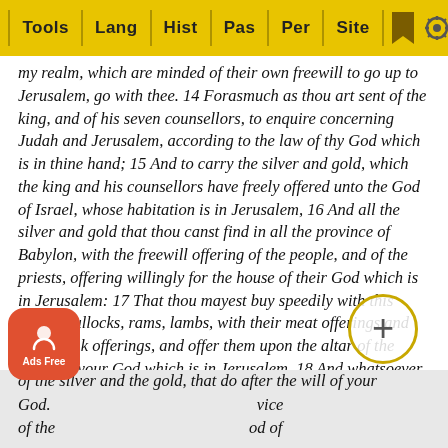Tools | Lang | Hist | Pas | Per | Site
my realm, which are minded of their own freewill to go up to Jerusalem, go with thee. 14 Forasmuch as thou art sent of the king, and of his seven counsellors, to enquire concerning Judah and Jerusalem, according to the law of thy God which is in thine hand; 15 And to carry the silver and gold, which the king and his counsellors have freely offered unto the God of Israel, whose habitation is in Jerusalem, 16 And all the silver and gold that thou canst find in all the province of Babylon, with the freewill offering of the people, and of the priests, offering willingly for the house of their God which is in Jerusalem: 17 That thou mayest buy speedily with this money bullocks, rams, lambs, with their meat offerings and their drink offerings, and offer them upon the altar of the house of your God which is in Jerusalem. 18 And whatsoever shall seem good to thee, and to thy brethren, to do with the rest of the silver and the gold, that do after the will of your God. ... vice of the... od of Jerus... the